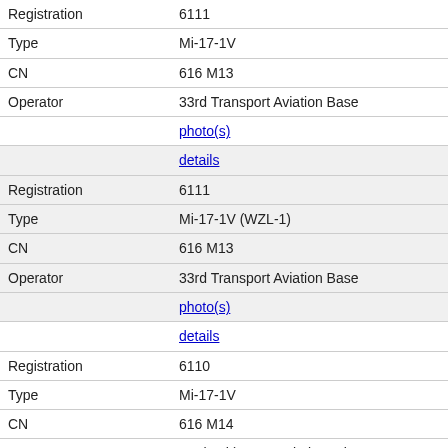| Registration | 6111 |
| Type | Mi-17-1V |
| CN | 616 M13 |
| Operator | 33rd Transport Aviation Base |
|  | photo(s) |
|  | details |
| Registration | 6111 |
| Type | Mi-17-1V (WZL-1) |
| CN | 616 M13 |
| Operator | 33rd Transport Aviation Base |
|  | photo(s) |
|  | details |
| Registration | 6110 |
| Type | Mi-17-1V |
| CN | 616 M14 |
| Operator | 1st (37th) Army Aviation Wing |
|  | details |
| Registration | 6110 |
| Type | Mi-17-1V (WZL-1) |
| CN | 616 M14 |
| Operator | 1st (37th) Army Aviation Wing |
|  | photo(s) |
|  | details |
| Registration | 6112 |
| Type | Mi-17-1V |